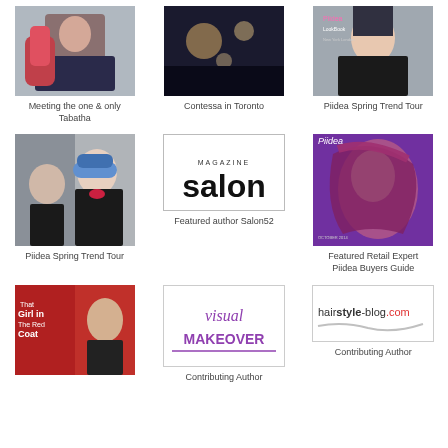[Figure (photo): Photo of a person wearing a red scarf outdoors]
Contessa in Toronto
[Figure (photo): Magazine cover or fashion photo]
Meeting the one & only Tabatha
Piidea Spring Trend Tour
[Figure (photo): Woman with blue-highlighted short hair]
[Figure (logo): Salon Magazine logo — black text on white background]
[Figure (photo): Piidea magazine cover with woman with long purple/red hair]
Featured author Salon52
Piidea Spring Trend Tour
Featured Retail Expert Piidea Buyers Guide
[Figure (photo): Magazine page: That Girl in the Red Coat]
[Figure (logo): Visual Makeover logo — purple script text]
[Figure (logo): hairstyle-blog.com logo]
Contributing Author
Contributing Author